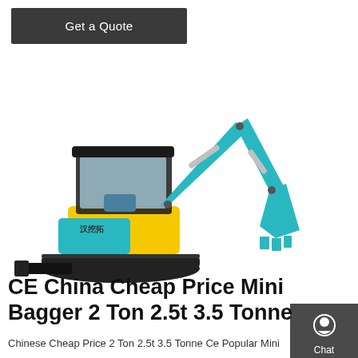Get a Quote
[Figure (photo): Teal/blue mini excavator (bagger) with yellow body panel, black tracks and blade attachment, photographed on white background. Machine brand markings visible on body.]
[Figure (infographic): Right sidebar with dark gray background containing three icon+label items: Chat (headset icon), Email (envelope icon), Contact (speech bubble with dots icon), separated by red divider lines.]
CE China Cheap Price Mini Bagger 2 Ton 2.5t 3.5 Tonne
Chinese Cheap Price 2 Ton 2.5t 3.5 Tonne Ce Popular Mini